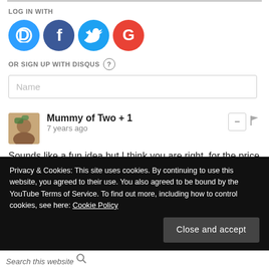LOG IN WITH
[Figure (infographic): Four social login icons: Disqus (blue circle with D), Facebook (dark blue circle with f), Twitter (light blue circle with bird), Google (red circle with G)]
OR SIGN UP WITH DISQUS ?
Name
Mummy of Two + 1
7 years ago
Sounds like a fun idea but I think you are right, for the price it needs to have more interaction. I am sure my two would love it nonetheless!
Reply
Privacy & Cookies: This site uses cookies. By continuing to use this website, you agreed to their use. You also agreed to be bound by the YouTube Terms of Service. To find out more, including how to control cookies, see here: Cookie Policy
Close and accept
Search this website